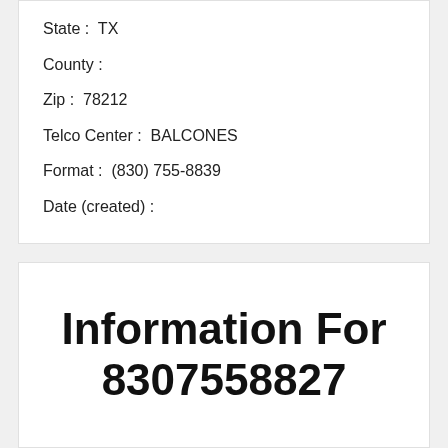State :  TX
County :
Zip :  78212
Telco Center :  BALCONES
Format :  (830) 755-8839
Date (created) :
Information For 8307558827